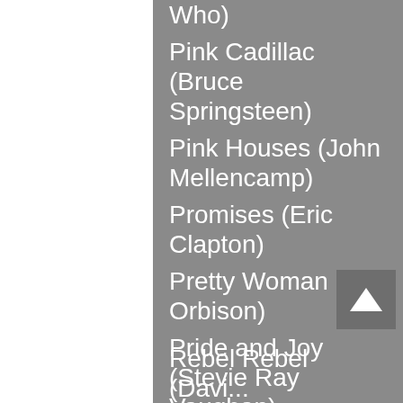Who)
Pink Cadillac (Bruce Springsteen)
Pink Houses (John Mellencamp)
Promises (Eric Clapton)
Pretty Woman (Roy Orbison)
Pride and Joy (Stevie Ray Vaughan)
Proud Mary (CCR)
R:
Rebel Rebel (David...